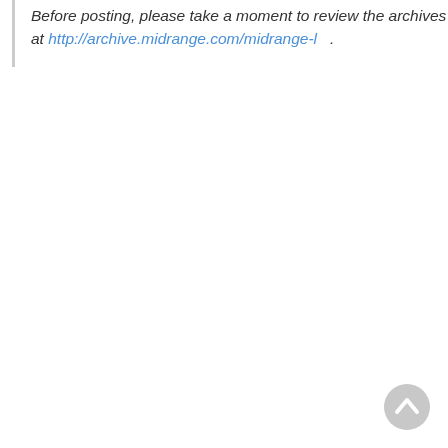Before posting, please take a moment to review the archives at http://archive.midrange.com/midrange-l .
[Figure (other): Back to top arrow button — circular grey icon with an upward-pointing chevron]